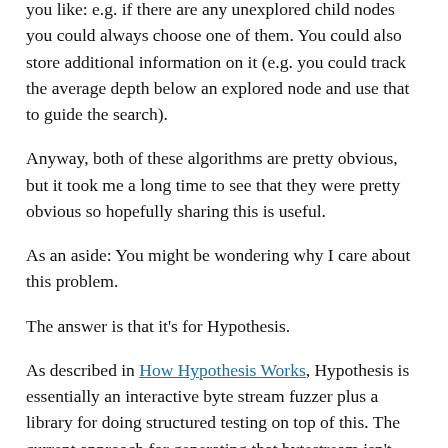you like: e.g. if there are any unexplored child nodes you could always choose one of them. You could also store additional information on it (e.g. you could track the average depth below an explored node and use that to guide the search).
Anyway, both of these algorithms are pretty obvious, but it took me a long time to see that they were pretty obvious so hopefully sharing this is useful.
As an aside: You might be wondering why I care about this problem.
The answer is that it's for Hypothesis.
As described in How Hypothesis Works, Hypothesis is essentially an interactive byte stream fuzzer plus a library for doing structured testing on top of this. The current approach for generating that bytestream isn't great, and has a number of limitations. In particular: